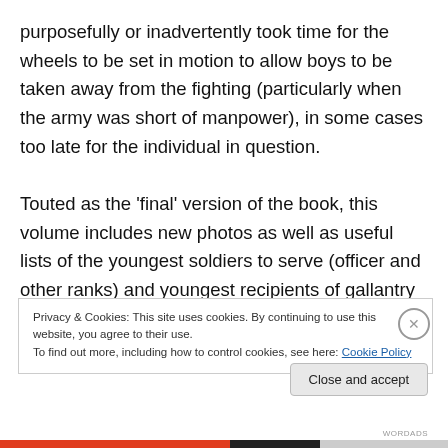purposefully or inadvertently took time for the wheels to be set in motion to allow boys to be taken away from the fighting (particularly when the army was short of manpower), in some cases too late for the individual in question.

Touted as the ‘final’ version of the book, this volume includes new photos as well as useful lists of the youngest soldiers to serve (officer and other ranks) and youngest recipients of gallantry awards. Whilst the final figure of boy soldiers will never be known, Richard Van Emden’s
Privacy & Cookies: This site uses cookies. By continuing to use this website, you agree to their use.
To find out more, including how to control cookies, see here: Cookie Policy